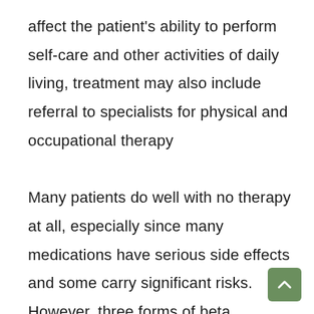affect the patient's ability to perform self-care and other activities of daily living, treatment may also include referral to specialists for physical and occupational therapy

Many patients do well with no therapy at all, especially since many medications have serious side effects and some carry significant risks.  However, three forms of beta interferon (Avonex, Betaseron, and Rebif) have now been approved by the